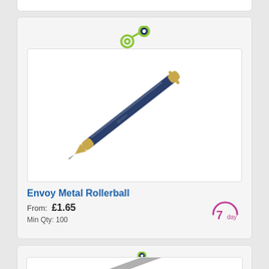[Figure (photo): Top remnant of a product card, partially visible]
[Figure (photo): Product listing card for Envoy Metal Rollerball pen showing a diagonal dark blue and gold rollerball pen on white background, with a quick-view logo icon at top center]
Envoy Metal Rollerball
From: £1.65
Min Qty: 100
[Figure (logo): 7 day delivery badge - purple arc with '7' and 'day' text]
[Figure (photo): Bottom partial product card with quick-view logo icon and partial pen image visible]